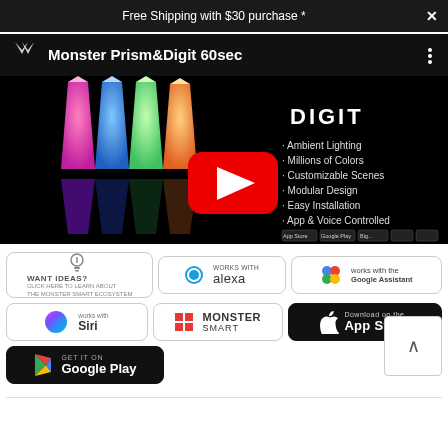Free Shipping with $30 purchase *  ✕
[Figure (screenshot): YouTube video thumbnail for Monster Prism&Digit 60sec product video. Shows glowing crystal-shaped lights in pink, blue, green and orange on black background. Large red YouTube play button in center. Right side shows 'DIGIT' text and bullet points: Ambient Lighting, Millions of Colors, Customizable Scenes, Modular Design, Easy Installation, App & Voice Controlled. App store badges at bottom.]
[Figure (logo): Want Ideas? badge - rectangular badge with lightbulb icon and small text]
[Figure (logo): Works with Alexa badge - blue circle with ring icon and alexa text]
[Figure (logo): Works with the Google Assistant badge]
[Figure (logo): Works with Siri badge - colorful Siri orb icon]
[Figure (logo): Monster Smart logo badge]
[Figure (logo): Download on the App Store dark badge]
[Figure (logo): Get it on Google Play dark badge]